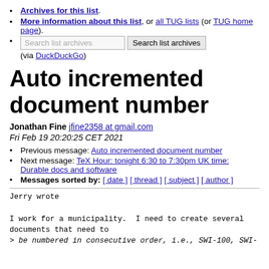Archives for this list.
More information about this list, or all TUG lists (or TUG home page).
Search list archives [input] Search list archives (via DuckDuckGo)
Auto incremented document number
Jonathan Fine jfine2358 at gmail.com
Fri Feb 19 20:20:25 CET 2021
Previous message: Auto incremented document number
Next message: TeX Hour: tonight 6:30 to 7:30pm UK time: Durable docs and software
Messages sorted by: [ date ] [ thread ] [ subject ] [ author ]
Jerry wrote

I work for a municipality. I need to create several
documents that need to
> be numbered in consecutive order, i.e., SWI-100, SWI-